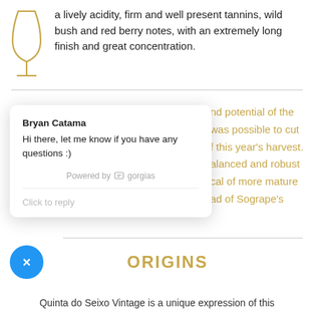a lively acidity, firm and well present tannins, wild bush and red berry notes, with an extremely long finish and great concentration.
[Figure (illustration): Gold wine glass / goblet icon on the left side]
[Figure (screenshot): Chat popup from Bryan Catama: Hi there, let me know if you have any questions :) Powered by gorgias. Click to reply.]
nd potential of the was possible to cut f this year's harvest. alanced and robust cal of more mature ad of Sogrape's
ORIGINS
Quinta do Seixo Vintage is a unique expression of this